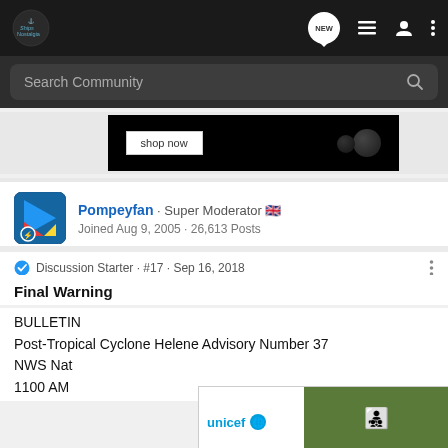Ships Nostalgia - Search Community
[Figure (screenshot): Advertisement image showing 'shop now' button on black background]
Pompeyfan · Super Moderator 🇬🇧
Joined Aug 9, 2005 · 26,613 Posts
Discussion Starter · #17 · Sep 16, 2018
Final Warning
BULLETIN
Post-Tropical Cyclone Helene Advisory Number 37
NWS Nat
1100 AM
[Figure (photo): UNICEF advertisement showing smiling children with UNICEF logo]